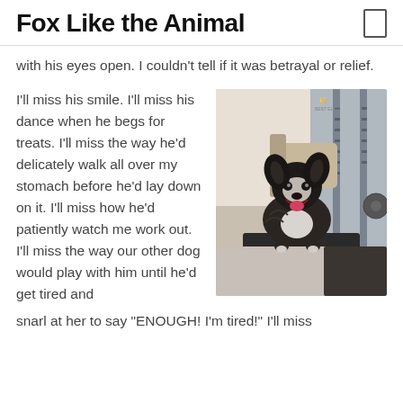Fox Like the Animal
with his eyes open. I couldn't tell if it was betrayal or relief.
I'll miss his smile. I'll miss his dance when he begs for treats. I'll miss the way he'd delicately walk all over my stomach before he'd lay down on it. I'll miss how he'd patiently watch me work out. I'll miss the way our other dog would play with him until he'd get tired and snarl at her to say "ENOUGH! I'm tired!" I'll miss
[Figure (photo): A black and white dog sitting on gym equipment, appearing to smile with mouth open, in a home gym setting with weights visible in the background.]